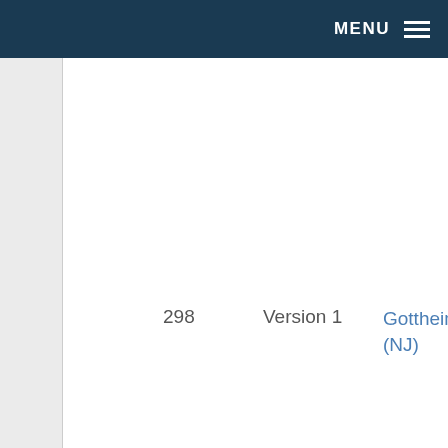MENU
298   Version 1   Gottheimer (NJ)   Democra